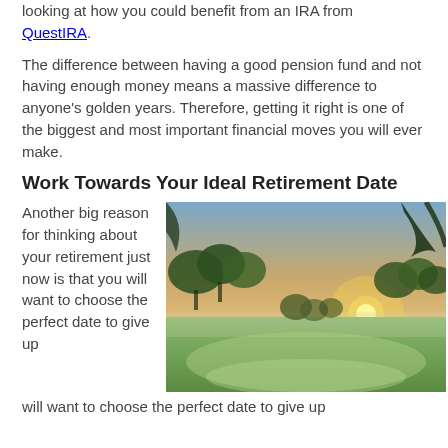looking at how you could benefit from an IRA from QuestIRA.
The difference between having a good pension fund and not having enough money means a massive difference to anyone's golden years. Therefore, getting it right is one of the biggest and most important financial moves you will ever make.
Work Towards Your Ideal Retirement Date
Another big reason for thinking about your retirement just now is that you will want to choose the perfect date to give up
[Figure (photo): Golf course at sunset with trees, green fairway, and sun low on the horizon casting warm golden light.]